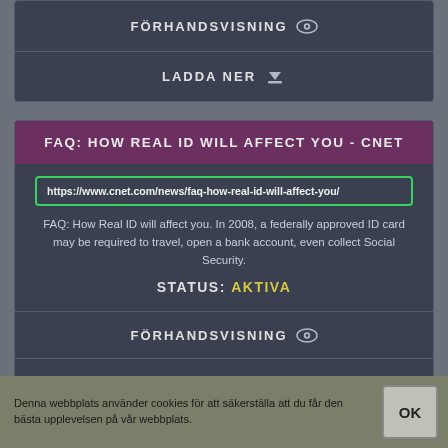FÖRHANDSVISNING
LADDA NER
FAQ: HOW REAL ID WILL AFFECT YOU - CNET
https://www.cnet.com/news/faq-how-real-id-will-affect-you/
FAQ: How Real ID will affect you. In 2008, a federally approved ID card may be required to travel, open a bank account, even collect Social Security.
STATUS: AKTIVA
FÖRHANDSVISNING
LADDA NER
Denna webbplats använder cookies för att säkerställa att du får den bästa upplevelsen på vår webbplats.